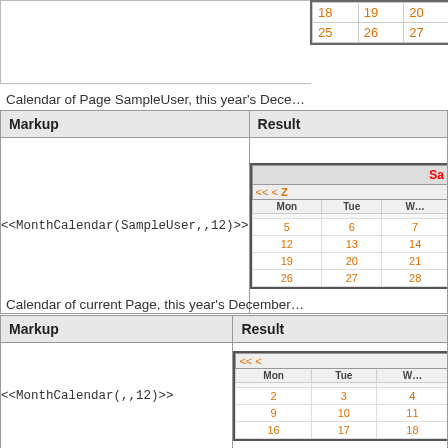| 18 | 19 | 20+ |
| 25 | 26 | 27+ |
Calendar of Page SampleUser, this year's Dece...
| Markup | Result |
| --- | --- |
| <<MonthCalendar(SampleUser,,12)>> | [calendar showing Dec with SampleUser, rows: 5,6,7 / 12,13,14 / 19,20,21 / 26,27,28] |
Calendar of current Page, this year's December...
| Markup | Result |
| --- | --- |
| <<MonthCalendar(,,12)>> | [calendar showing Dec with rows: 2,3,4 / 9,10,11 / 16,17,18] |